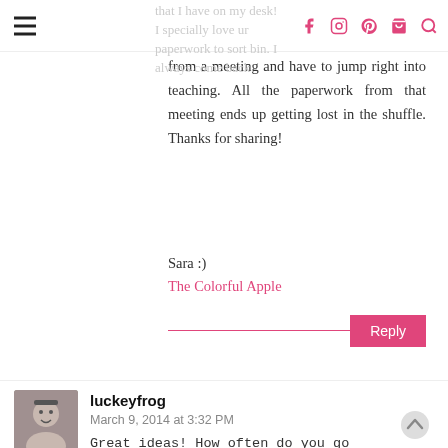Navigation header with hamburger menu and social icons (Facebook, Instagram, Pinterest, Cart, Search)
that I have on my desk! I specially love ur paperwork to sort bin. I always come back from a meeting and have to jump right into teaching. All the paperwork from that meeting ends up getting lost in the shuffle. Thanks for sharing!
Sara :)
The Colorful Apple
luckeyfrog
March 9, 2014 at 3:32 PM
Great ideas! How often do you go through empty the baskets?